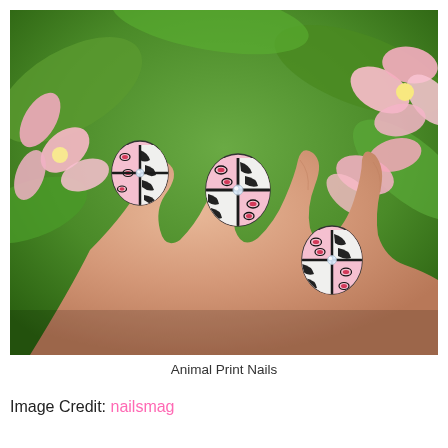[Figure (photo): Close-up photo of a hand with decorative nail art featuring animal print patterns (zebra and leopard print) in pink, black, white and red, with small rhinestone embellishments, set against a background of pink flowers and green foliage.]
Animal Print Nails
Image Credit: nailsmag